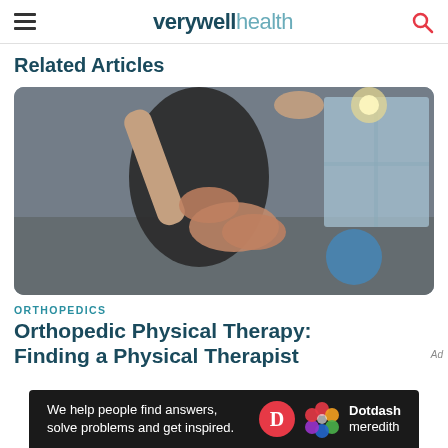verywell health
Related Articles
[Figure (photo): Physical therapist holding and examining a patient's leg in a gym/clinic setting, black-and-white toned image, blue exercise ball in background]
ORTHOPEDICS
Orthopedic Physical Therapy: Finding a Physical Therapist
We help people find answers, solve problems and get inspired. Dotdash meredith